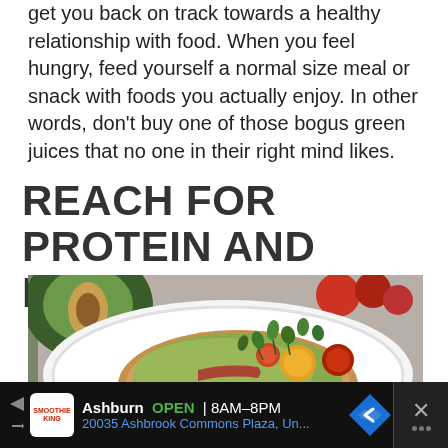get you back on track towards a healthy relationship with food. When you feel hungry, feed yourself a normal size meal or snack with foods you actually enjoy. In other words, don't buy one of those bogus green juices that no one in their right mind likes.
REACH FOR PROTEIN AND FIBRE
[Figure (photo): Close-up photo of avocado toast on a white plate topped with cherry tomatoes and microgreens, with a halved avocado visible in the background]
Ashburn OPEN | 8AM–8PM 20035 Ashbrook Commons Plaza, Un...